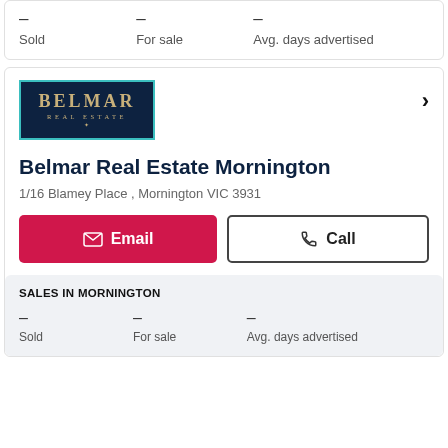- Sold   - For sale   - Avg. days advertised
[Figure (logo): Belmar Real Estate logo - dark navy background with gold BELMAR text and teal border]
Belmar Real Estate Mornington
1/16 Blamey Place , Mornington VIC 3931
Email  Call
SALES IN MORNINGTON
- Sold   - For sale   - Avg. days advertised